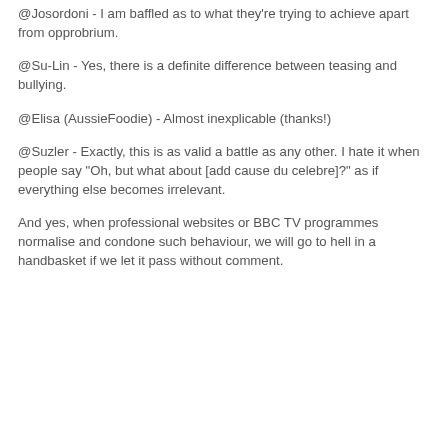@Josordoni - I am baffled as to what they're trying to achieve apart from opprobrium.
@Su-Lin - Yes, there is a definite difference between teasing and bullying.
@Elisa (AussieFoodie) - Almost inexplicable (thanks!)
@Suzler - Exactly, this is as valid a battle as any other. I hate it when people say "Oh, but what about [add cause du celebre]?" as if everything else becomes irrelevant.
And yes, when professional websites or BBC TV programmes normalise and condone such behaviour, we will go to hell in a handbasket if we let it pass without comment.